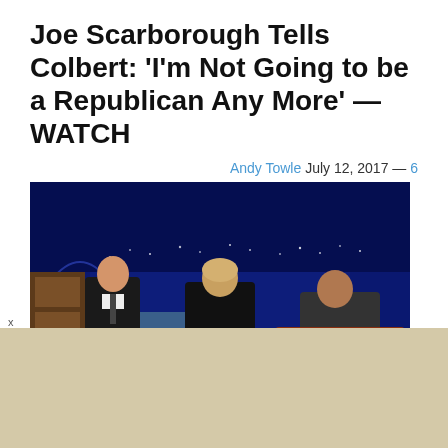Joe Scarborough Tells Colbert: 'I'm Not Going to be a Republican Any More' — WATCH
Andy Towle July 12, 2017 — 6
[Figure (photo): Joe Scarborough and Mika Brzezinski seated on Stephen Colbert's Late Show set, with the city skyline backdrop and the Late Show desk visible with CBS logo]